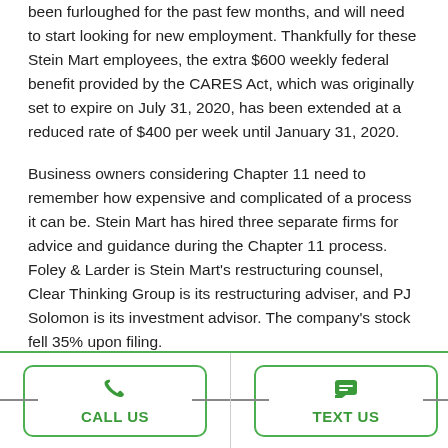been furloughed for the past few months, and will need to start looking for new employment. Thankfully for these Stein Mart employees, the extra $600 weekly federal benefit provided by the CARES Act, which was originally set to expire on July 31, 2020, has been extended at a reduced rate of $400 per week until January 31, 2020.
Business owners considering Chapter 11 need to remember how expensive and complicated of a process it can be. Stein Mart has hired three separate firms for advice and guidance during the Chapter 11 process. Foley & Larder is Stein Mart's restructuring counsel, Clear Thinking Group is its restructuring adviser, and PJ Solomon is its investment advisor. The company's stock fell 35% upon filing.
Chapter 11 Bankruptcy, Explained
[Figure (other): Bottom call-to-action bar with two buttons: CALL US (phone icon) and TEXT US (chat icon), separated by a vertical divider, with green border and green text.]